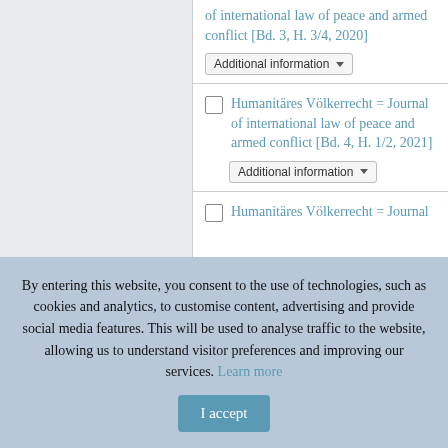Humanitäres Völkerrecht = Journal of international law of peace and armed conflict [Bd. 3, H. 3/4, 2020]
Humanitäres Völkerrecht = Journal of international law of peace and armed conflict [Bd. 4, H. 1/2, 2021]
Humanitäres Völkerrecht = Journal
By entering this website, you consent to the use of technologies, such as cookies and analytics, to customise content, advertising and provide social media features. This will be used to analyse traffic to the website, allowing us to understand visitor preferences and improving our services. Learn more